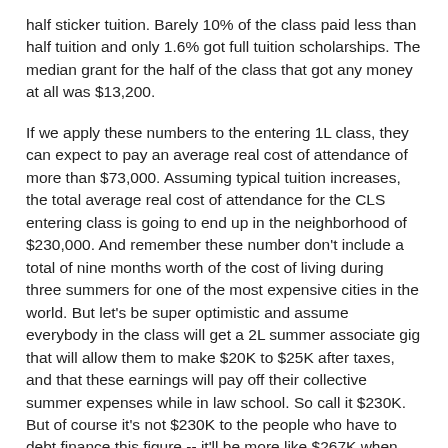half sticker tuition.  Barely 10% of the class paid less than half tuition and only 1.6% got full tuition scholarships.  The median grant for the half of the class that got any money at all was $13,200.
If we apply these numbers to the entering 1L class, they can expect to pay an average real cost of attendance of more than $73,000. Assuming typical tuition increases, the total average real cost of attendance for the CLS entering class is going to end up in the neighborhood of $230,000.  And remember these number don't include a total of nine months worth of the cost of living during three summers for one of the most expensive cities in the world.  But let's be super optimistic and assume everybody in the class will get a 2L summer associate gig that will allow them to make $20K to $25K after taxes, and that these earnings will pay off their collective summer expenses while in law school.  So call it $230K. But of course it's not $230K to the people who have to debt finance this figure -- it'll be more like $267K when the first bill comes due (that tricky accruing interest again).
So where were we? Oh yes -- how is it that a quarter of the